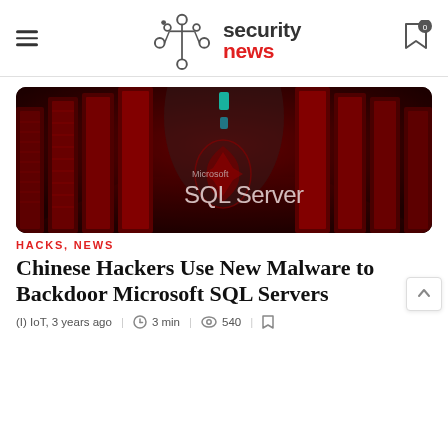IoT Security News
[Figure (photo): Red-lit data center server racks corridor with Microsoft SQL Server logo overlay]
HACKS, NEWS
Chinese Hackers Use New Malware to Backdoor Microsoft SQL Servers
(I) IoT, 3 years ago   3 min  |  540  |